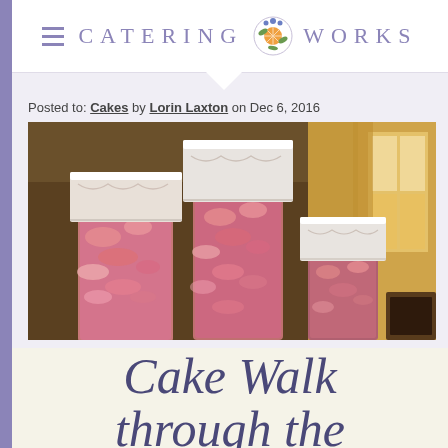Catering Works
Posted to: Cakes by Lorin Laxton on Dec 6, 2016
[Figure (photo): Three elegant white wedding cakes displayed on glass cylinder pedestals filled with pink rose petals, in a warmly lit room with curtained windows.]
Cake Walk through the years